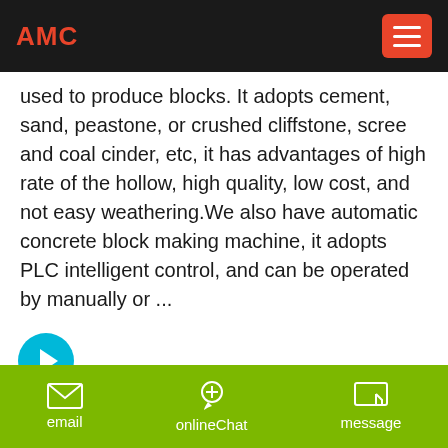AMC
used to produce blocks. It adopts cement, sand, peastone, or crushed cliffstone, scree and coal cinder, etc, it has advantages of high rate of the hollow, high quality, low cost, and not easy weathering.We also have automatic concrete block making machine, it adopts PLC intelligent control, and can be operated by manually or ...
[Figure (other): Cyan circular arrow button pointing right]
[Figure (photo): Photo of construction excavator arm against blue sky with clouds]
email   onlineChat   message